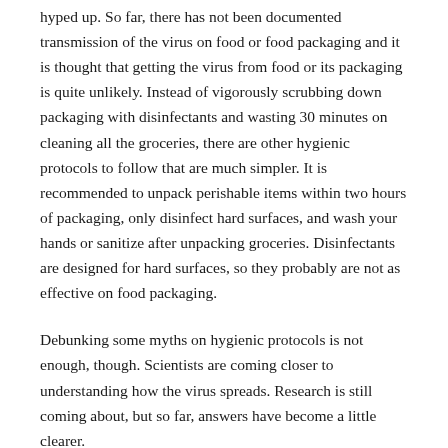hyped up. So far, there has not been documented transmission of the virus on food or food packaging and it is thought that getting the virus from food or its packaging is quite unlikely. Instead of vigorously scrubbing down packaging with disinfectants and wasting 30 minutes on cleaning all the groceries, there are other hygienic protocols to follow that are much simpler. It is recommended to unpack perishable items within two hours of packaging, only disinfect hard surfaces, and wash your hands or sanitize after unpacking groceries. Disinfectants are designed for hard surfaces, so they probably are not as effective on food packaging.
Debunking some myths on hygienic protocols is not enough, though. Scientists are coming closer to understanding how the virus spreads. Research is still coming about, but so far, answers have become a little clearer.
Is COVID-19 airborne?